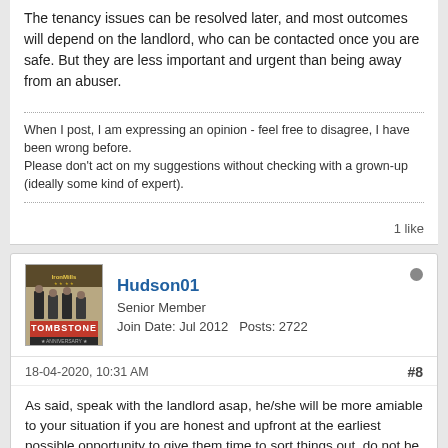The tenancy issues can be resolved later, and most outcomes will depend on the landlord, who can be contacted once you are safe. But they are less important and urgent than being away from an abuser.
When I post, I am expressing an opinion - feel free to disagree, I have been wrong before.
Please don't act on my suggestions without checking with a grown-up (ideally some kind of expert).
1 like
Hudson01
Senior Member
Join Date: Jul 2012   Posts: 2722
18-04-2020, 10:31 AM
#8
As said, speak with the landlord asap, he/she will be more amiable to your situation if you are honest and upfront at the earliest possible opportunity to give them time to sort things out, do not be